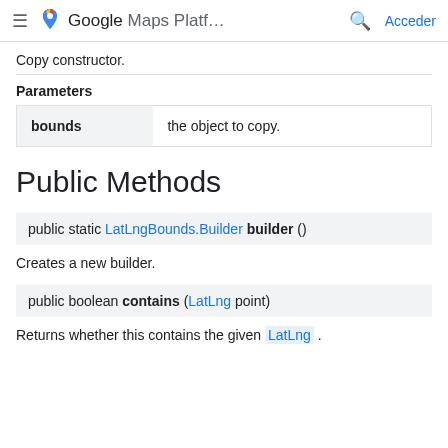≡ Google Maps Platf... 🔍 Acceder
Copy constructor.
Parameters
| bounds | the object to copy. |
| --- | --- |
| bounds | the object to copy. |
Public Methods
public static LatLngBounds.Builder builder ()
Creates a new builder.
public boolean contains (LatLng point)
Returns whether this contains the given LatLng .